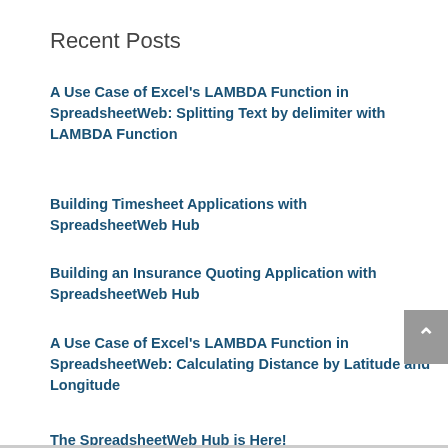Recent Posts
A Use Case of Excel's LAMBDA Function in SpreadsheetWeb: Splitting Text by delimiter with LAMBDA Function
Building Timesheet Applications with SpreadsheetWeb Hub
Building an Insurance Quoting Application with SpreadsheetWeb Hub
A Use Case of Excel's LAMBDA Function in SpreadsheetWeb: Calculating Distance by Latitude and Longitude
The SpreadsheetWeb Hub is Here!